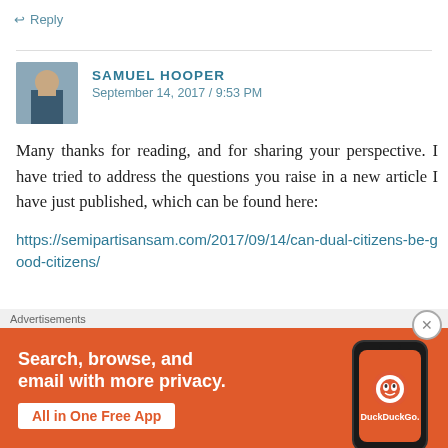↩ Reply
SAMUEL HOOPER
September 14, 2017 / 9:53 PM
Many thanks for reading, and for sharing your perspective. I have tried to address the questions you raise in a new article I have just published, which can be found here:
https://semipartisansam.com/2017/09/14/can-dual-citizens-be-good-citizens/
[Figure (infographic): DuckDuckGo advertisement banner: orange background with text 'Search, browse, and email with more privacy. All in One Free App' and a smartphone showing the DuckDuckGo logo, with 'DuckDuckGo.' text.]